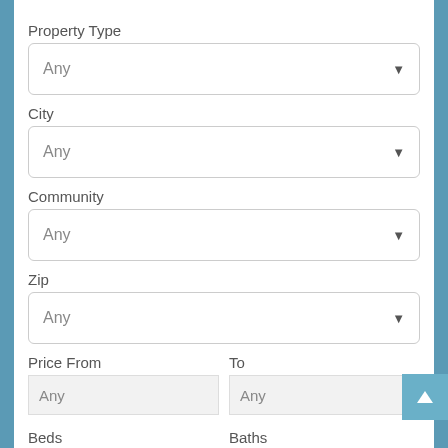Property Type
Any (dropdown)
City
Any (dropdown)
Community
Any (dropdown)
Zip
Any (dropdown)
Price From
Any (input)
To
Any (input)
Beds
Any (select)
Baths
Any (select)
Min Sqft
Any (input)